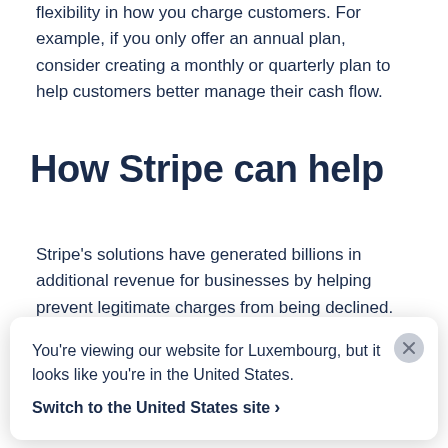flexibility in how you charge customers. For example, if you only offer an annual plan, consider creating a monthly or quarterly plan to help customers better manage their cash flow.
How Stripe can help
Stripe's solutions have generated billions in additional revenue for businesses by helping prevent legitimate charges from being declined. Stripe's payments infrastructure is highly available, helping prevent declines due to processor downtime. If processor
You're viewing our website for Luxembourg, but it looks like you're in the United States. Switch to the United States site ›
directly integrated with six major global card networks